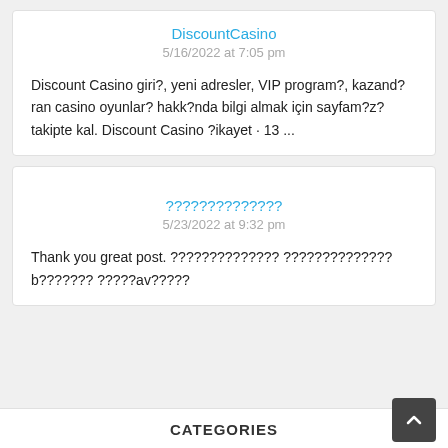DiscountCasino
5/16/2022 at 7:05 pm
Discount Casino giri?, yeni adresler, VIP program?, kazand?ran casino oyunlar? hakk?nda bilgi almak için sayfam?z? takipte kal. Discount Casino ?ikayet · 13 ...
??????????????
5/23/2022 at 9:32 pm
Thank you great post. ?????????????? ?????????????? b??????? ?????av?????
CATEGORIES